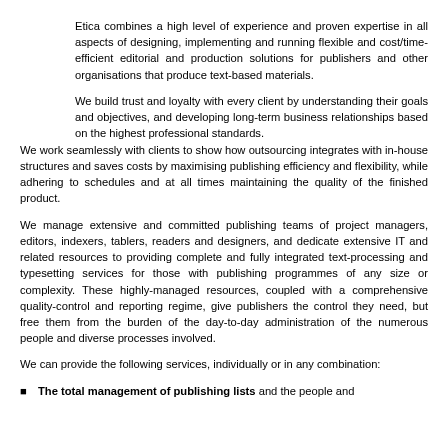Etica combines a high level of experience and proven expertise in all aspects of designing, implementing and running flexible and cost/time-efficient editorial and production solutions for publishers and other organisations that produce text-based materials.
We build trust and loyalty with every client by understanding their goals and objectives, and developing long-term business relationships based on the highest professional standards. We work seamlessly with clients to show how outsourcing integrates with in-house structures and saves costs by maximising publishing efficiency and flexibility, while adhering to schedules and at all times maintaining the quality of the finished product.
We manage extensive and committed publishing teams of project managers, editors, indexers, tablers, readers and designers, and dedicate extensive IT and related resources to providing complete and fully integrated text-processing and typesetting services for those with publishing programmes of any size or complexity. These highly-managed resources, coupled with a comprehensive quality-control and reporting regime, give publishers the control they need, but free them from the burden of the day-to-day administration of the numerous people and diverse processes involved.
We can provide the following services, individually or in any combination:
The total management of publishing lists and the people and